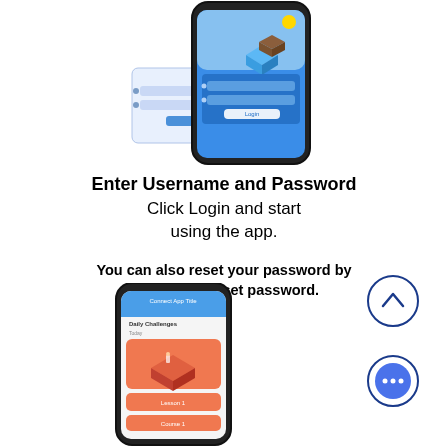[Figure (screenshot): Smartphone showing a login screen with username/password fields and a blue UI, with a background card also showing login fields. An isometric game-like image is visible at the top of the phone.]
Enter Username and Password
Click Login and start using the app.
You can also reset your password by clicking on reset password.
[Figure (screenshot): Smartphone showing an app screen with a salmon/orange card UI and an isometric classroom illustration.]
[Figure (illustration): Circle button with upward chevron arrow (navy blue outline)]
[Figure (illustration): Circle button with speech bubble / chat icon (blue filled circle with three dots)]